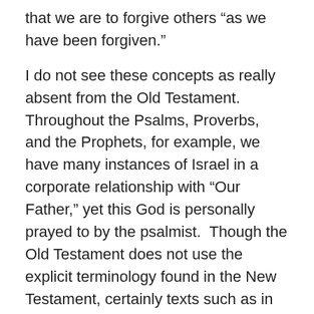that we are to forgive others “as we have been forgiven.”
I do not see these concepts as really absent from the Old Testament.  Throughout the Psalms, Proverbs, and the Prophets, for example, we have many instances of Israel in a corporate relationship with “Our Father,” yet this God is personally prayed to by the psalmist.  Though the Old Testament does not use the explicit terminology found in the New Testament, certainly texts such as in Proverbs point out the need of forgiveness for ourselves as well as extending mercy and kindness (and forgiveness), instead of holding grudges or doing wrong to our neighbor. Certainly it is true, though, that the gospel texts of The Lord’s Prayer set out clearly the things that are more implied in the Old Testament, as to our prayers and the right perspective.